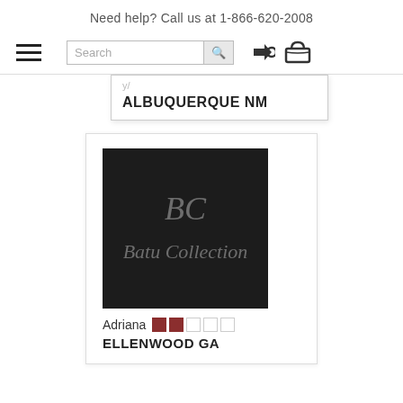Need help? Call us at 1-866-620-2008
[Figure (screenshot): Navigation bar with hamburger menu, search box, login arrow icon, and shopping cart icon]
ALBUQUERQUE NM
[Figure (logo): BC Batu Collection logo on dark background]
Adriana ELLENWOOD GA